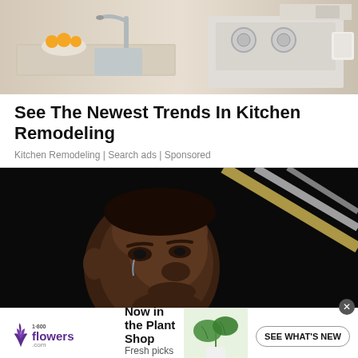[Figure (photo): Kitchen remodeling photo showing granite countertops, stainless steel faucet, fruit bowl, and professional range stove]
See The Newest Trends In Kitchen Remodeling
Kitchen Remodeling | Search ads | Sponsored
[Figure (photo): Close-up photo of a man's face crying, dark background with diagonal light streaks in gold and white]
[Figure (photo): 1-800-flowers.com advertisement banner: Now in the Plant Shop - Fresh picks for summer, with SEE WHAT'S NEW button and plant imagery]